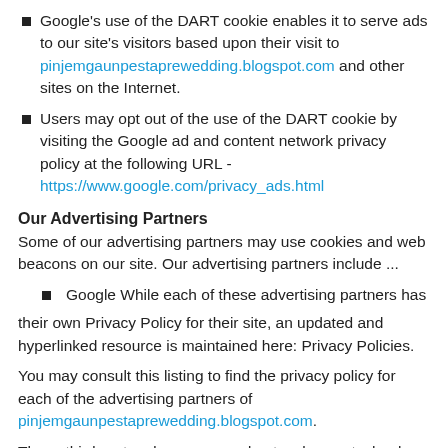Google's use of the DART cookie enables it to serve ads to our site's visitors based upon their visit to pinjemgaunpestaprewedding.blogspot.com and other sites on the Internet.
Users may opt out of the use of the DART cookie by visiting the Google ad and content network privacy policy at the following URL - https://www.google.com/privacy_ads.html
Our Advertising Partners
Some of our advertising partners may use cookies and web beacons on our site. Our advertising partners include ...
Google While each of these advertising partners has their own Privacy Policy for their site, an updated and hyperlinked resource is maintained here: Privacy Policies.
You may consult this listing to find the privacy policy for each of the advertising partners of pinjemgaunpestaprewedding.blogspot.com.
These third-party ad servers or ad networks use technology in their respective advertisements and links that appear on pinjemgaunpestaprewedding.blogspot.com